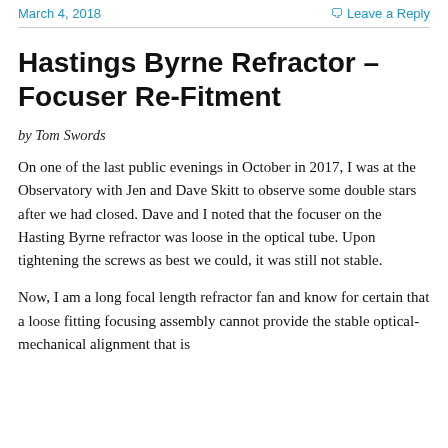March 4, 2018   Leave a Reply
Hastings Byrne Refractor – Focuser Re-Fitment
by Tom Swords
On one of the last public evenings in October in 2017, I was at the Observatory with Jen and Dave Skitt to observe some double stars after we had closed. Dave and I noted that the focuser on the Hasting Byrne refractor was loose in the optical tube. Upon tightening the screws as best we could, it was still not stable.
Now, I am a long focal length refractor fan and know for certain that a loose fitting focusing assembly cannot provide the stable optical-mechanical alignment that is